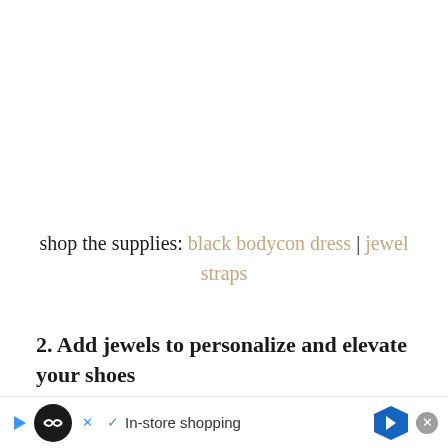shop the supplies: black bodycon dress | jewel straps
2. Add jewels to personalize and elevate your shoes
Not everyone can or wants to afford the Golden Goose ... can't go ... the co... your